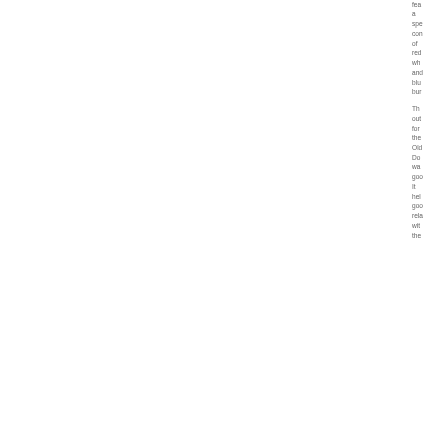fea a spe con of red wh and blu bur
Th out for the Old Do wa goo It hel goo rela wit the